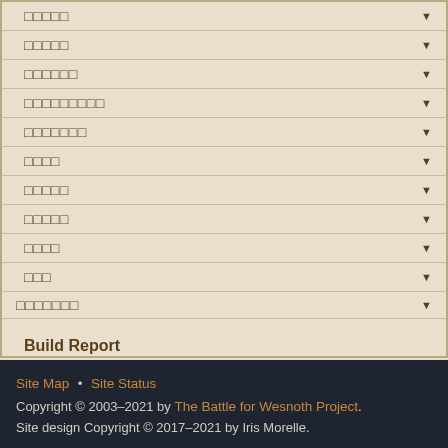□□□□□ ▼
□□□□□ ▼
□□□□□□ ▼
□□□□□□□□□ ▼
□□□□□□□ ▼
□□□□ ▼
□□□□□ ▼
□□□□□ ▼
□□□□ ▼
□□□ ▼
□□□□□□□ ▼
Build Report
Site Map • Site Status
Copyright © 2003–2021 by The Battle for Wesnoth Project.
Site design Copyright © 2017–2021 by Iris Morelle.